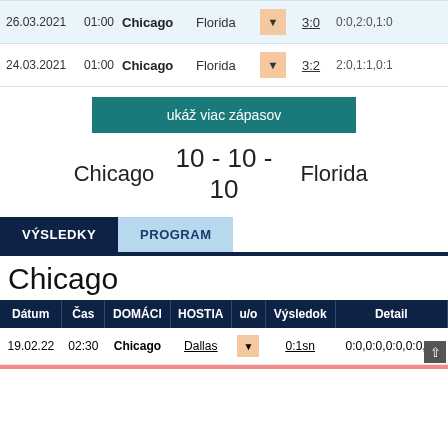| Dátum | Čas | DOMÁCI | HOSTIA | u/o | Výsledok | Detail |
| --- | --- | --- | --- | --- | --- | --- |
| 26.03.2021 | 01:00 | Chicago | Florida | ▼ | 3:0 | 0:0,2:0,1:0 |
| 24.03.2021 | 01:00 | Chicago | Florida | ▼ | 3:2 | 2:0,1:1,0:1 |
ukáž viac zápasov
Chicago   10 - 10 - 10   Florida
VÝSLEDKY   PROGRAM
Chicago
| Dátum | Čas | DOMÁCI | HOSTIA | u/o | Výsledok | Detail |
| --- | --- | --- | --- | --- | --- | --- |
| 19.02.22 | 02:30 | Chicago | Dallas | ▼ | 0:1sn | 0:0,0:0,0:0,0:0,-:- |